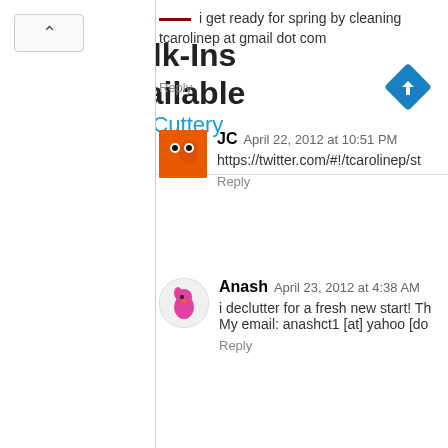[Figure (infographic): Hair Cuttery advertisement banner with yellow logo, Walk-Ins Available text, blue navigation diamond icon]
i get ready for spring by cleaning tcarolinep at gmail dot com
Reply
JC  April 22, 2012 at 10:51 PM
https://twitter.com/#!/tcarolinep/st
Reply
Anash  April 23, 2012 at 4:38 AM
i declutter for a fresh new start! Th My email: anashct1 [at] yahoo [do
Reply